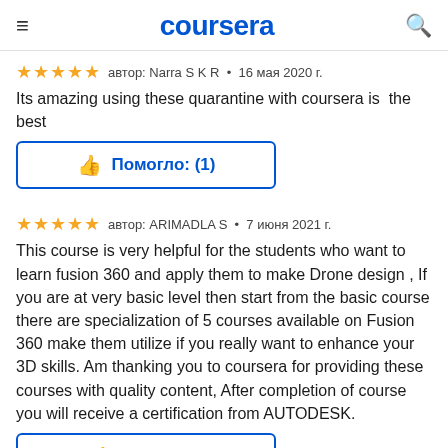coursera
автор: Narra S K R • 16 мая 2020 г.
Its amazing using these quarantine with coursera is  the best
Помогло: (1)
автор: ARIMADLA S • 7 июня 2021 г.
This course is very helpful for the students who want to learn fusion 360 and apply them to make Drone design , If you are at very basic level then start from the basic course there are specialization of 5 courses available on Fusion 360 make them utilize if you really want to enhance your 3D skills. Am thanking you to coursera for providing these courses with quality content, After completion of course you will receive a certification from AUTODESK.
Помогло: